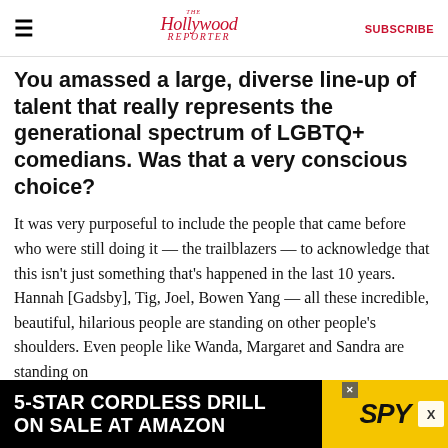The Hollywood Reporter | SUBSCRIBE
You amassed a large, diverse line-up of talent that really represents the generational spectrum of LGBTQ+ comedians. Was that a very conscious choice?
It was very purposeful to include the people that came before who were still doing it — the trailblazers — to acknowledge that this isn't just something that's happened in the last 10 years. Hannah [Gadsby], Tig, Joel, Bowen Yang — all these incredible, beautiful, hilarious people are standing on other people's shoulders. Even people like Wanda, Margaret and Sandra are standing on
[Figure (infographic): Advertisement banner: '5-STAR CORDLESS DRILL ON SALE AT AMAZON' with SPY logo in yellow on black background]